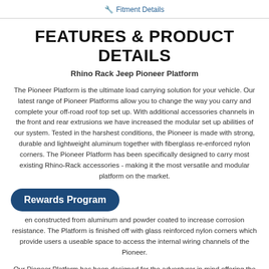🔧 Fitment Details
FEATURES & PRODUCT DETAILS
Rhino Rack Jeep Pioneer Platform
The Pioneer Platform is the ultimate load carrying solution for your vehicle. Our latest range of Pioneer Platforms allow you to change the way you carry and complete your off-road roof top set up. With additional accessories channels in the front and rear extrusions we have increased the modular set up abilities of our system. Tested in the harshest conditions, the Pioneer is made with strong, durable and lightweight aluminum together with fiberglass re-enforced nylon corners. The Pioneer Platform has been specifically designed to carry most existing Rhino-Rack accessories - making it the most versatile and modular platform on the market.
en constructed from aluminum and powder coated to increase corrosion resistance. The Platform is finished off with glass reinforced nylon corners which provide users a useable space to access the internal wiring channels of the Pioneer.
Our Pioneer Platform has been designed for the adventurer in mind offering the most modular and versatile roof top solution in the market. Compatible with a wide range of accessories, the Pioneer truly allows for you to build your ideal set up for every adventure.